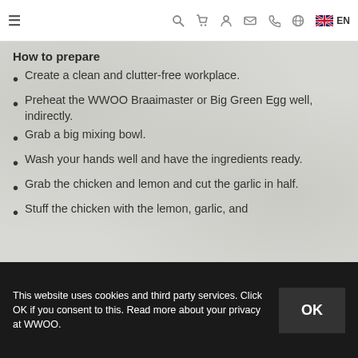≡  🔍  🛒  👤  ✉  📞  🌐  EN
How to prepare
Create a clean and clutter-free workplace.
Preheat the WWOO Braaimaster or Big Green Egg well, indirectly.
Grab a big mixing bowl.
Wash your hands well and have the ingredients ready.
Grab the chicken and lemon and cut the garlic in half.
Stuff the chicken with the lemon, garlic, and
This website uses cookies and third party services. Click OK if you consent to this. Read more about your privacy at WWOO.